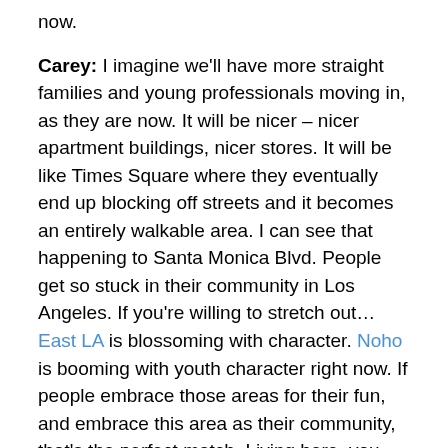now.
Carey: I imagine we'll have more straight families and young professionals moving in, as they are now. It will be nicer – nicer apartment buildings, nicer stores. It will be like Times Square where they eventually end up blocking off streets and it becomes an entirely walkable area. I can see that happening to Santa Monica Blvd. People get so stuck in their community in Los Angeles. If you're willing to stretch out… East LA is blossoming with character. Noho is booming with youth character right now. If people embrace those areas for their fun, and embrace this area as their community, that's the perfect match. Living here, you have the luxury of going to the beach, to the airport, to the east side, to downtown, all within twenty minutes.
Karl: Well, if the other areas are for fun, wouldn't you want